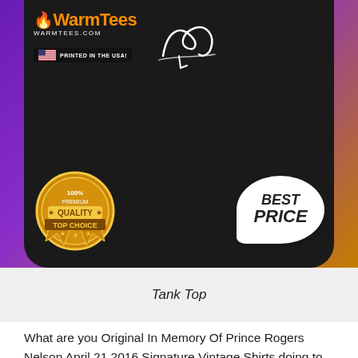[Figure (photo): Product photo of a black tank top with a cursive signature design, displayed on a purple/gold promotional background. Includes WarmTees logo, 'Printed in the USA' badge, '100% Premium Quality Top Choice' gold seal, and 'Best Price' speech bubble.]
Tank Top
What are you Original In Memory Of Prince Rogers Nelson April 21 2016 Signature Vintage Shirts doing to spend 50k in four months on expenses? A normal coke habit doesn't cost that much. Almost, more like. I was planning to use it for a down payment on a house. An inpatient psychiatric hospitalization was a good chunk of it, something like. My rent is a month, post-employment health insurance, then things like food, bills, student loans, car insurance, car payments, and other regular expenses were about another